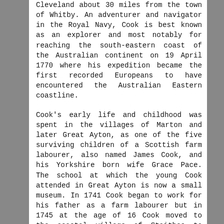Cleveland about 30 miles from the town of Whitby. An adventurer and navigator in the Royal Navy, Cook is best known as an explorer and most notably for reaching the south-eastern coast of the Australian continent on 19 April 1770 where his expedition became the first recorded Europeans to have encountered the Australian Eastern coastline.
Cook's early life and childhood was spent in the villages of Marton and later Great Ayton, as one of the five surviving children of a Scottish farm labourer, also named James Cook, and his Yorkshire born wife Grace Pace. The school at which the young Cook attended in Great Ayton is now a small museum. In 1741 Cook began to work for his father as a farm labourer but in 1745 at the age of 16 Cook moved to the coastal village of Staithes to work as an assistant in a grocery shop. This move gave Cook his first glimpse and experience of the sea which would prove to be so central to his future successes. The post did not last and his employer, aware of Cook's enthusiasm for life on the ocean and his determination to go to sea, took him to Whitby (his home is now a wonderful museum...) where he was introduced to the Walker family (Captain John &